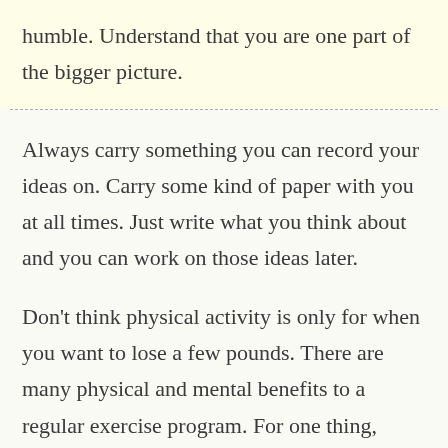humble. Understand that you are one part of the bigger picture.
Always carry something you can record your ideas on. Carry some kind of paper with you at all times. Just write what you think about and you can work on those ideas later.
Don’t think physical activity is only for when you want to lose a few pounds. There are many physical and mental benefits to a regular exercise program. For one thing, exercise stimulates your brain to produce chemicals that